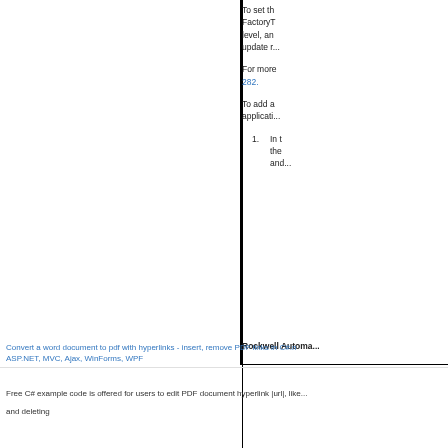To set th... FactoryT... level, an... update r...
For more... 282.
To add a... applicati...
1. In t... the... and...
Rockwell Automa...
Convert a word document to pdf with hyperlinks - insert, remove PDF links in C# n... ASP.NET, MVC, Ajax, WinForms, WPF
Free C# example code is offered for users to edit PDF document hyperlink |url|, like... and deleting